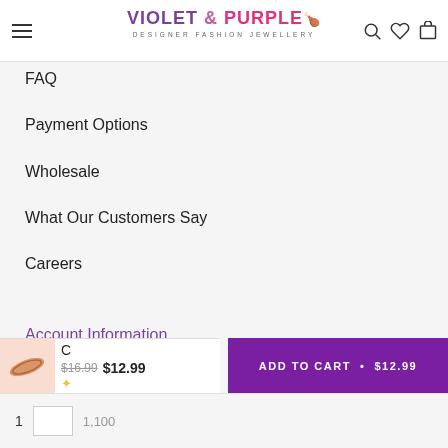Violet & Purple — Designer Fashion Jewellery
FAQ
Payment Options
Wholesale
What Our Customers Say
Careers
Account Information
Login
C  $16.99  $12.99  ADD TO CART • $12.99
1